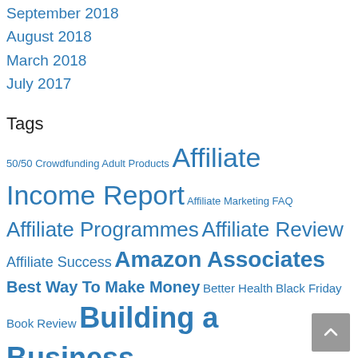September 2018
August 2018
March 2018
July 2017
Tags
50/50 Crowdfunding  Adult Products  Affiliate Income Report  Affiliate Marketing FAQ  Affiliate Programmes  Affiliate Review  Affiliate Success  Amazon Associates  Best Way To Make Money  Better Health  Black Friday  Book Review  Building a Business  Business Opportunity  Change of Career  Clickbank Affiliate  Covid-Proof Earning